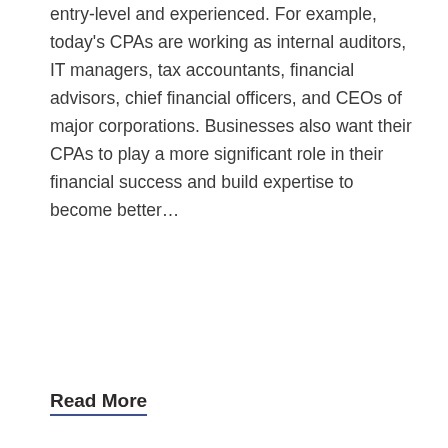entry-level and experienced. For example, today's CPAs are working as internal auditors, IT managers, tax accountants, financial advisors, chief financial officers, and CEOs of major corporations. Businesses also want their CPAs to play a more significant role in their financial success and build expertise to become better…
Read More